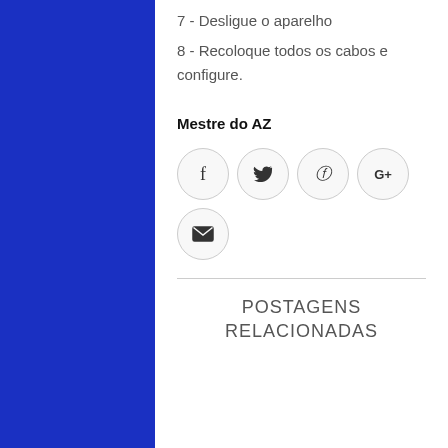7 - Desligue o aparelho
8 - Recoloque todos os cabos e configure.
Mestre do AZ
[Figure (infographic): Social sharing icon circles: Facebook (f), Twitter (bird), Pinterest (p), Google+ (G+), and Email (envelope)]
POSTAGENS RELACIONADAS